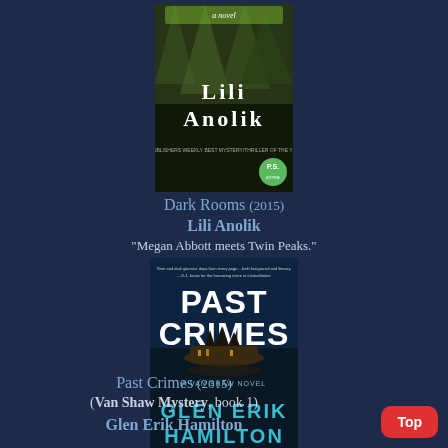[Figure (illustration): Book cover of 'Dark Rooms' by Lili Anolik. Dark green and black tones, author name in large white letters, 'a novel' at top, P.S. logo badge at bottom right.]
Dark Rooms (2015)
Lili Anolik
"Megan Abbott meets Twin Peaks."
[Figure (illustration): Book cover of 'Past Crimes' by Glen Erik Hamilton. Blue tones, island reflection in water, 'PAST CRIMES' in large white text, 'A VAN SHAW NOVEL' subtitle, author name in teal letters at bottom.]
Past Crimes (2015)
(Van Shaw Mystery, book 1)
Glen Erik Hamilton